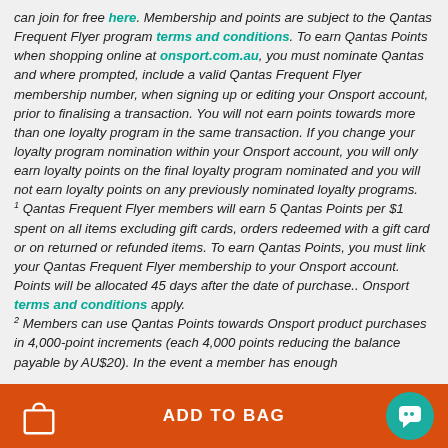can join for free here. Membership and points are subject to the Qantas Frequent Flyer program terms and conditions. To earn Qantas Points when shopping online at onsport.com.au, you must nominate Qantas and where prompted, include a valid Qantas Frequent Flyer membership number, when signing up or editing your Onsport account, prior to finalising a transaction. You will not earn points towards more than one loyalty program in the same transaction. If you change your loyalty program nomination within your Onsport account, you will only earn loyalty points on the final loyalty program nominated and you will not earn loyalty points on any previously nominated loyalty programs.
1 Qantas Frequent Flyer members will earn 5 Qantas Points per $1 spent on all items excluding gift cards, orders redeemed with a gift card or on returned or refunded items. To earn Qantas Points, you must link your Qantas Frequent Flyer membership to your Onsport account. Points will be allocated 45 days after the date of purchase.. Onsport terms and conditions apply.
2 Members can use Qantas Points towards Onsport product purchases in 4,000-point increments (each 4,000 points reducing the balance payable by AU$20). In the event a member has enough
ADD TO BAG